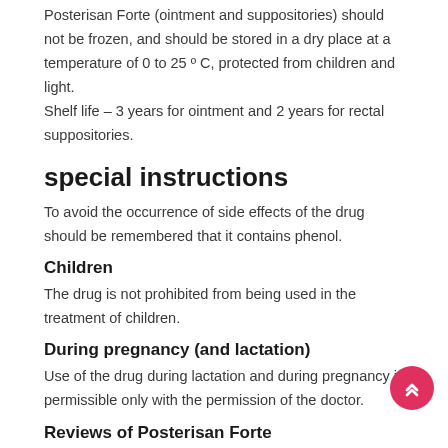Posterisan Forte (ointment and suppositories) should not be frozen, and should be stored in a dry place at a temperature of 0 to 25 º C, protected from children and light.
Shelf life – 3 years for ointment and 2 years for rectal suppositories.
special instructions
To avoid the occurrence of side effects of the drug should be remembered that it contains phenol.
Children
The drug is not prohibited from being used in the treatment of children.
During pregnancy (and lactation)
Use of the drug during lactation and during pregnancy is permissible only with the permission of the doctor.
Reviews of Posterisan Forte